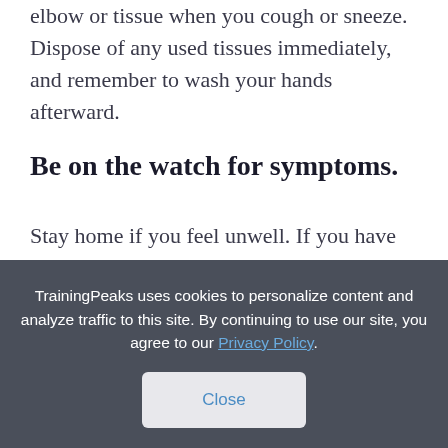elbow or tissue when you cough or sneeze. Dispose of any used tissues immediately, and remember to wash your hands afterward.
Be on the watch for symptoms.
Stay home if you feel unwell. If you have COVID-19 symptoms (fever, cough and difficulty breathing) and have been in contact with somebody who is infected, seek medical attention. Due to high volume, you may want to
TrainingPeaks uses cookies to personalize content and analyze traffic to this site. By continuing to use our site, you agree to our Privacy Policy.